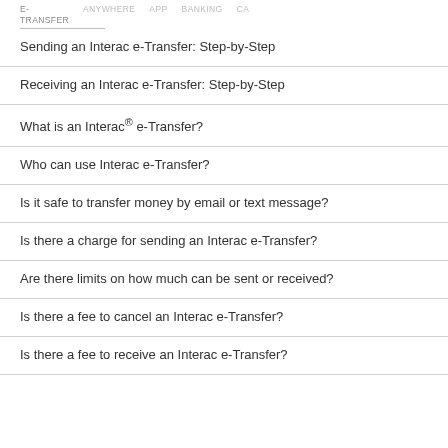E-TRANSFER  ANYWHERE  APP  BANKING  CA
Sending an Interac e-Transfer: Step-by-Step
Receiving an Interac e-Transfer: Step-by-Step
What is an Interac® e-Transfer?
Who can use Interac e-Transfer?
Is it safe to transfer money by email or text message?
Is there a charge for sending an Interac e-Transfer?
Are there limits on how much can be sent or received?
Is there a fee to cancel an Interac e-Transfer?
Is there a fee to receive an Interac e-Transfer?